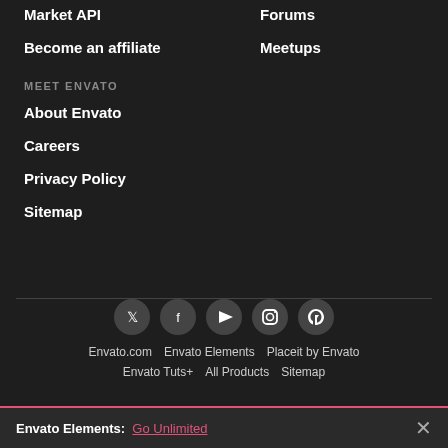Market API
Forums
Become an affiliate
Meetups
MEET ENVATO
About Envato
Careers
Privacy Policy
Sitemap
[Figure (infographic): Social media icons in circles: Twitter, Facebook, YouTube, Instagram, Pinterest]
Envato.com  Envato Elements  Placeit by Envato  Envato Tuts+  All Products  Sitemap
Envato Elements: Go Unlimited ×